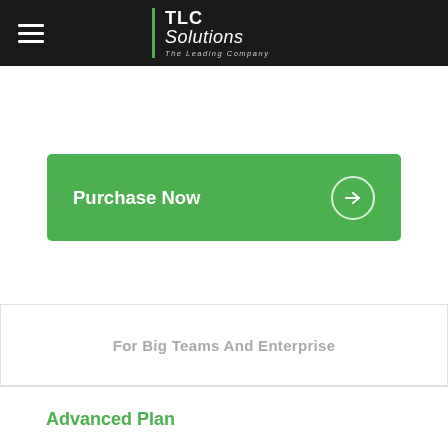TLC Solutions – The Leading Company
Purchase Now
For Big Teams And Enterprise
Advanced Plan